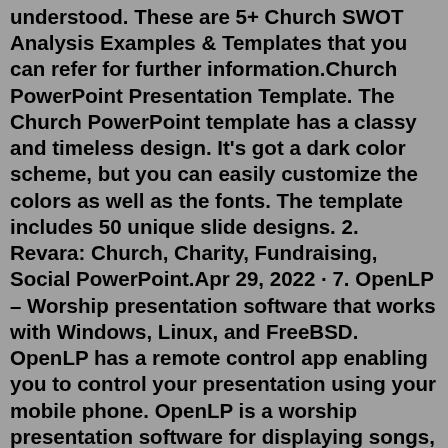understood. These are 5+ Church SWOT Analysis Examples & Templates that you can refer for further information.Church PowerPoint Presentation Template. The Church PowerPoint template has a classy and timeless design. It's got a dark color scheme, but you can easily customize the colors as well as the fonts. The template includes 50 unique slide designs. 2. Revara: Church, Charity, Fundraising, Social PowerPoint.Apr 29, 2022 · 7. OpenLP – Worship presentation software that works with Windows, Linux, and FreeBSD. OpenLP has a remote control app enabling you to control your presentation using your mobile phone. OpenLP is a worship presentation software for displaying songs, presentations, Bible verses, images, and texts. Browse our collection of free Christian presentation templates that you can also download for PowerPoint presentations later on and pick the design that catches your attention. Use the text tool to add the content to your church presentation slides. You can also switch up your background with solid colors or patterned